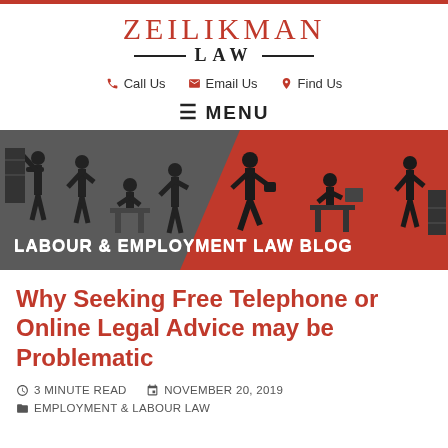Zeilikman Law — Call Us | Email Us | Find Us
Labour & Employment Law Blog
[Figure (illustration): Blog banner showing silhouettes of workers in grey and red background with text 'Labour & Employment Law Blog']
Why Seeking Free Telephone or Online Legal Advice may be Problematic
3 Minute Read   November 20, 2019   Employment & Labour Law